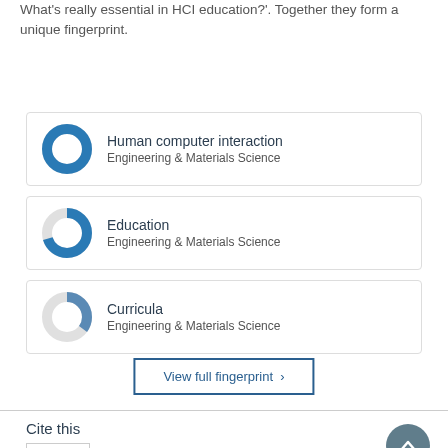...dive into the research topics of 'Fronts of the above: What's really essential in HCI education?'. Together they form a unique fingerprint.
[Figure (donut-chart): Donut chart approximately 100% filled in blue]
Human computer interaction
Engineering & Materials Science
[Figure (donut-chart): Donut chart approximately 70% filled in blue]
Education
Engineering & Materials Science
[Figure (donut-chart): Donut chart approximately 35% filled in blue]
Curricula
Engineering & Materials Science
View full fingerprint >
Cite this
APA   Author   BIBTEX   Harvard   ...